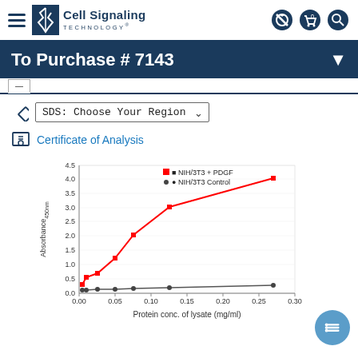Cell Signaling TECHNOLOGY®
To Purchase # 7143
SDS: Choose Your Region
Certificate of Analysis
[Figure (line-chart): ]